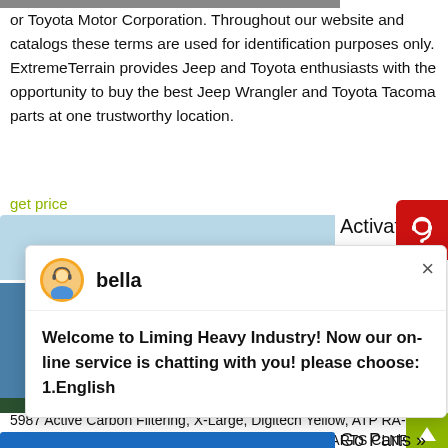or Toyota Motor Corporation. Throughout our website and catalogs these terms are used for identification purposes only. ExtremeTerrain provides Jeep and Toyota enthusiasts with the opportunity to buy the best Jeep Wrangler and Toyota Tacoma parts at one trustworthy location.
get price
[Figure (screenshot): Blue banner strip at top of second section]
Activate Carb
[Figure (photo): Industrial equipment with blue painted metal structure and yellow scaffolding]
Carbon products in Auto at SHOP including Rz Mask Llc 75987 Rz Mask 5987 Active Carbon Filtering, X-Large, Digitech Yellow, ATP RA-19 Carbon Activated Premium Cabin Air Filter, CARB/PARTS CLNR W/BSKT
get price
Go Parts »
[Figure (screenshot): Chat popup from Liming Heavy Industry with agent named bella. Message: Welcome to Liming Heavy Industry! Now our on-line service is chatting with you! please choose: 1.English]
[Figure (infographic): Blue circular badge with number 1]